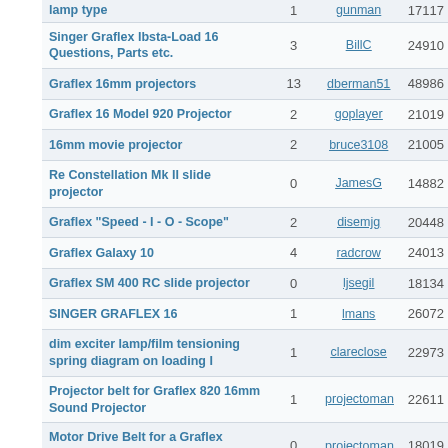| Topic | Replies | Last Post By | Views |
| --- | --- | --- | --- |
| lamp type | 1 | gunman | 17117 |
| Singer Graflex Ibsta-Load 16 Questions, Parts etc. | 3 | BillC | 24910 |
| Graflex 16mm projectors | 13 | dberman51 | 48986 |
| Graflex 16 Model 920 Projector | 2 | goplayer | 21019 |
| 16mm movie projector | 2 | bruce3108 | 21005 |
| Re Constellation Mk II slide projector | 0 | JamesG | 14882 |
| Graflex "Speed - I - O - Scope" | 2 | disemjg | 20448 |
| Graflex Galaxy 10 | 4 | radcrow | 24013 |
| Graflex SM 400 RC slide projector | 0 | ljsegil | 18134 |
| SINGER GRAFLEX 16 | 1 | lmans | 26072 |
| dim exciter lamp/film tensioning spring diagram on loading I | 1 | clareclose | 22973 |
| Projector belt for Graflex 820 16mm Sound Projector | 1 | projectoman | 22611 |
| Motor Drive Belt for a Graflex model 820 | 0 | projectoman | 18019 |
| dim exciter lamp/film tensioning spring diagram on loading I | 0 | clareclose | 17636 |
| Graflex Constellation slide | 4 | CATALYST157 | 33275 |